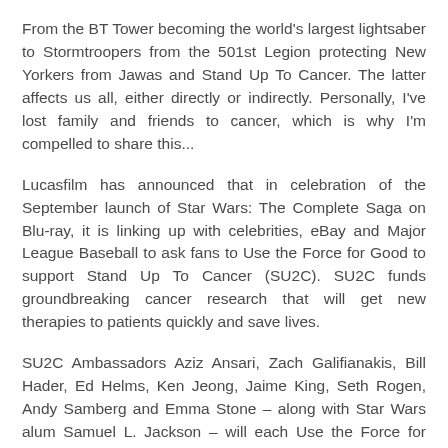From the BT Tower becoming the world's largest lightsaber to Stormtroopers from the 501st Legion protecting New Yorkers from Jawas and Stand Up To Cancer. The latter affects us all, either directly or indirectly. Personally, I've lost family and friends to cancer, which is why I'm compelled to share this...
Lucasfilm has announced that in celebration of the September launch of Star Wars: The Complete Saga on Blu-ray, it is linking up with celebrities, eBay and Major League Baseball to ask fans to Use the Force for Good to support Stand Up To Cancer (SU2C). SU2C funds groundbreaking cancer research that will get new therapies to patients quickly and save lives.
SU2C Ambassadors Aziz Ansari, Zach Galifianakis, Bill Hader, Ed Helms, Ken Jeong, Jaime King, Seth Rogen, Andy Samberg and Emma Stone – along with Star Wars alum Samuel L. Jackson – will each Use the Force for Good as they recreate classic Star Wars scenes to raise awareness for cancer research.  The all-star video tribute appears on the Star Wars YouTube channel at youtube.com/starwars